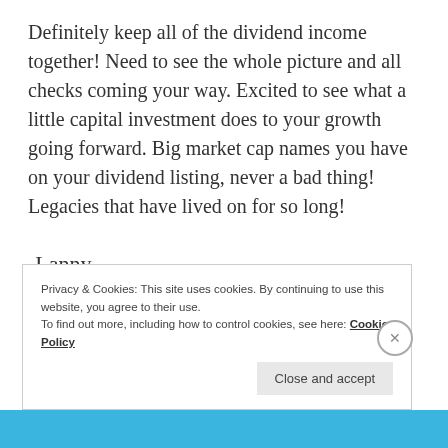Definitely keep all of the dividend income together! Need to see the whole picture and all checks coming your way. Excited to see what a little capital investment does to your growth going forward. Big market cap names you have on your dividend listing, never a bad thing! Legacies that have lived on for so long!
-Lanny
★ Like
Privacy & Cookies: This site uses cookies. By continuing to use this website, you agree to their use. To find out more, including how to control cookies, see here: Cookie Policy
Close and accept